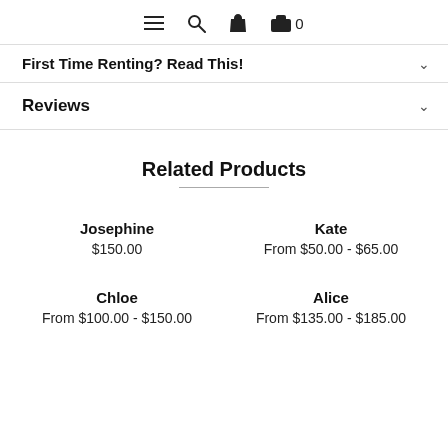≡  🔍  👤  🛍 0
First Time Renting? Read This!
Reviews
Related Products
Josephine
$150.00
Kate
From $50.00 - $65.00
Chloe
From $100.00 - $150.00
Alice
From $135.00 - $185.00